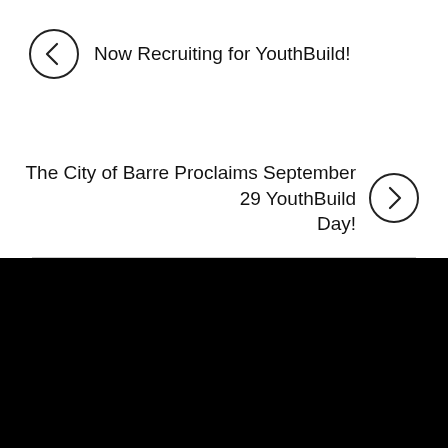Now Recruiting for YouthBuild!
The City of Barre Proclaims September 29 YouthBuild Day!
[Figure (other): Three-dot menu icon circle button on black background]
ReSOURCE